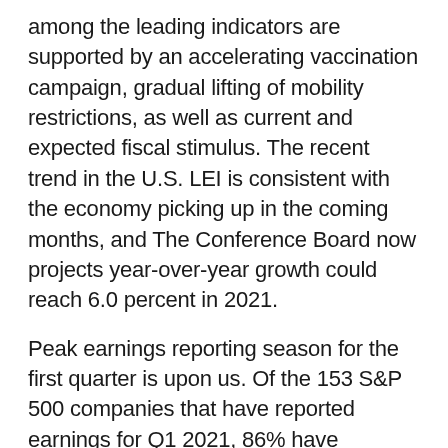among the leading indicators are supported by an accelerating vaccination campaign, gradual lifting of mobility restrictions, as well as current and expected fiscal stimulus. The recent trend in the U.S. LEI is consistent with the economy picking up in the coming months, and The Conference Board now projects year-over-year growth could reach 6.0 percent in 2021.
Peak earnings reporting season for the first quarter is upon us. Of the 153 S&P 500 companies that have reported earnings for Q1 2021, 86% have exceeded analyst expectations. In a typical quarter, 65% of companies beat expectations. Maybe more significant is the fact that the upside earnings surprise factor is 22.3%. The